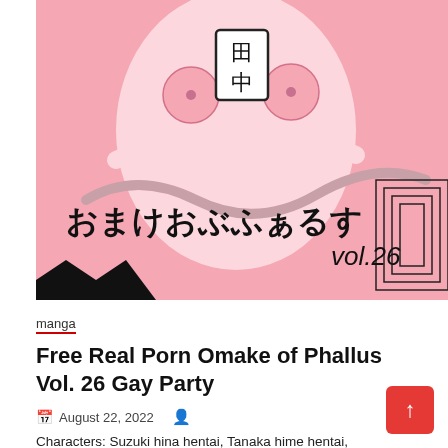[Figure (illustration): Pink-tinted manga/doujinshi cover image featuring anime-style artwork with Japanese text 'おまけおぶふぁるす' and 'vol.26', with a character name tag showing kanji '田中']
manga
Free Real Porn Omake of Phallus Vol. 26 Gay Party
August 22, 2022
Characters: Suzuki hina hentai, Tanaka hime hentai, Mokota mememe hentai Categories: Manga Tags: Suzuki